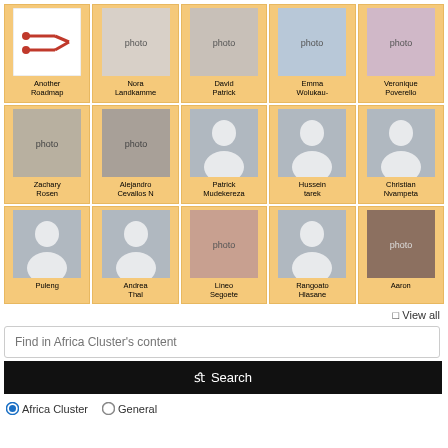[Figure (screenshot): Grid of 15 user profile cards in 5 columns and 3 rows, each with a photo or silhouette and a name, on orange/amber background. Row 1: Another Roadmap (logo icon), Nora Landkamme, David Patrick, Emma Wolukau-, Veronique Poverello. Row 2: Zachary Rosen, Alejandro Cevallos N, Patrick Mudekereza, Hussein tarek, Christian Nvampeta. Row 3: Puleng, Andrea Thal, Lineo Segoete, Rangoato Hlasane, Aaron.]
☐ View all
Find in Africa Cluster's content
fl Search
Africa Cluster  General